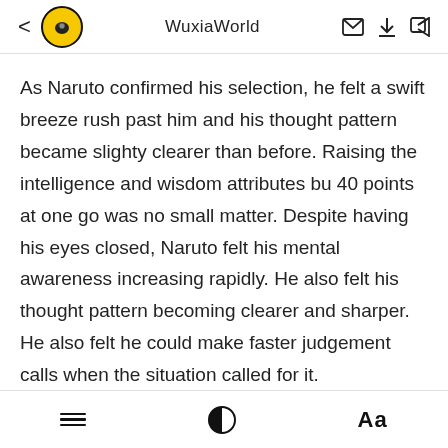WuxiaWorld
As Naruto confirmed his selection, he felt a swift breeze rush past him and his thought pattern became slighty clearer than before. Raising the intelligence and wisdom attributes bu 40 points at one go was no small matter. Despite having his eyes closed, Naruto felt his mental awareness increasing rapidly. He also felt his thought pattern becoming clearer and sharper. He also felt he could make faster judgement calls when the situation called for it.
Naruto opened his eyes and looked at his Status window that was still opened. He saw that he had leveled up to Level
≡  ◑  Aa